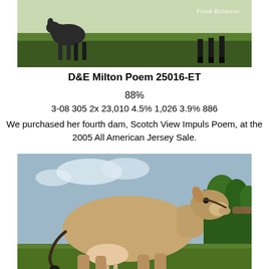[Figure (photo): Top cropped photo of cattle on green grass with 'Frank Robinson' watermark text in upper right corner]
D&E Milton Poem 25016-ET
88%
3-08 305 2x 23,010 4.5% 1,026 3.9% 886
We purchased her fourth dam, Scotch View Impuls Poem, at the 2005 All American Jersey Sale.
[Figure (photo): Side profile photo of a Jersey dairy cow standing on grass near water with trees in background, held by a person's hand]